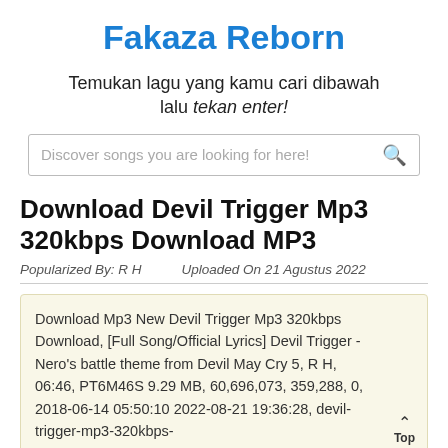Fakaza Reborn
Temukan lagu yang kamu cari dibawah lalu tekan enter!
Discover songs you are looking for here!
Download Devil Trigger Mp3 320kbps Download MP3
Popularized By: R H    Uploaded On 21 Agustus 2022
Download Mp3 New Devil Trigger Mp3 320kbps Download, [Full Song/Official Lyrics] Devil Trigger - Nero's battle theme from Devil May Cry 5, R H, 06:46, PT6M46S 9.29 MB, 60,696,073, 359,288, 0, 2018-06-14 05:50:10 2022-08-21 19:36:28, devil-trigger-mp3-320kbps-download-mp3